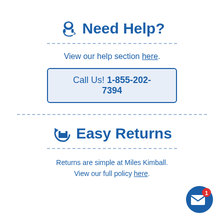Need Help?
View our help section here.
Call Us! 1-855-202-7394
Easy Returns
Returns are simple at Miles Kimball. View our full policy here.
[Figure (illustration): Notification envelope icon with red badge showing number 1]